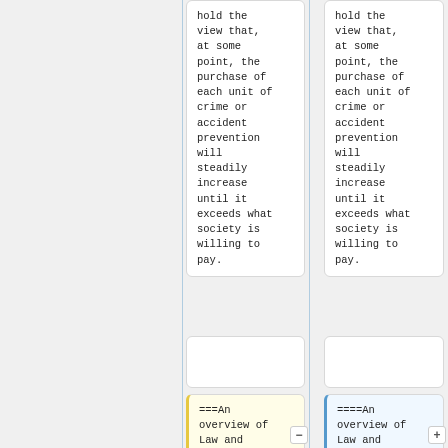hold the view that, at some point, the purchase of each unit of crime or accident prevention will steadily increase until it exceeds what society is willing to pay.
hold the view that, at some point, the purchase of each unit of crime or accident prevention will steadily increase until it exceeds what society is willing to pay.
===An overview of Law and
====An overview of Law and